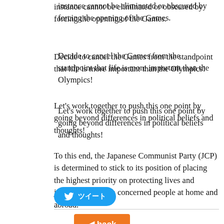instance cannot be eliminated or obscured by forcing the opening of the Games.
Decide to cancel the Games from the standpoint that life is more important than the Olympics!
Let's work together to push this one point by going beyond differences in political beliefs and thoughts!
To this end, the Japanese Communist Party (JCP) is determined to stick to its position of placing the highest priority on protecting lives and joining hands with concerned people at home and abroad.
[Figure (other): Twitter share button with bird icon and Japanese text ツイート]
[Figure (other): Orange back navigation button with left arrow and 'back' text]